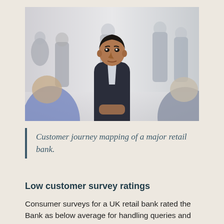[Figure (photo): A man in a dark business suit sitting at a table, attentively listening or speaking with someone across from him. Multiple other business people are visible in the blurred background. Office or conference setting with light walls.]
Customer journey mapping of a major retail bank.
Low customer survey ratings
Consumer surveys for a UK retail bank rated the Bank as below average for handling queries and complaints, despite